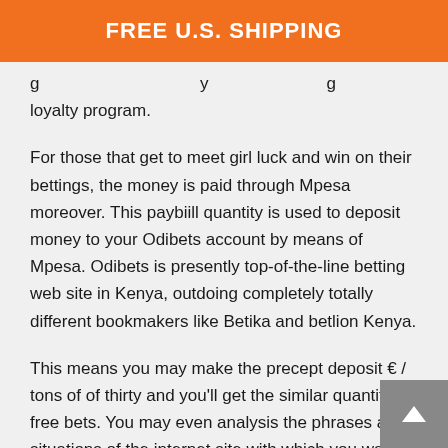FREE U.S. SHIPPING
g…y…g loyalty program.
For those that get to meet girl luck and win on their bettings, the money is paid through Mpesa moreover. This paybiill quantity is used to deposit money to your Odibets account by means of Mpesa. Odibets is presently top-of-the-line betting web site in Kenya, outdoing completely totally different bookmakers like Betika and betlion Kenya.
This means you may make the precept deposit € / tons of of thirty and you'll get the similar quantity in free bets. You may even analysis the phrases and situations of the internet site with which you want 1xbet to guess. The mannequin would possibly want solely started simply recently compared with many of the main on-line playing names nevertheless 1XBET have generated a major and constant following. You can contact them by the use of